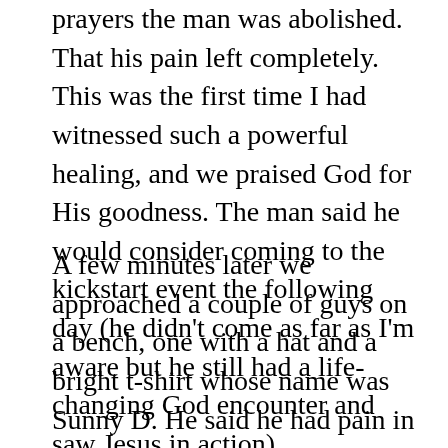prayers the man was abolished. That his pain left completely. This was the first time I had witnessed such a powerful healing, and we praised God for His goodness. The man said he would consider coming to the kickstart event the following day (he didn't come as far as I'm aware but he still had a life-changing God encounter and saw Jesus in action).
A few minutes later we approached a couple of guys on a bench, one with a hat and a bright t-shirt whose name was Sunny D. He said he had pain in his lower back and that we could pray for him. I said one or two short prayers and he was amazed that the pain completely left. Seeing these healings was amazing for me too, as when I have prayed for people in the past I haven't always been confident